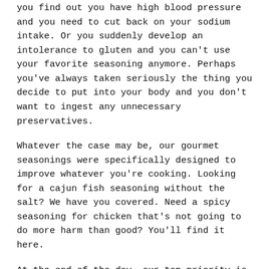you find out you have high blood pressure and you need to cut back on your sodium intake. Or you suddenly develop an intolerance to gluten and you can't use your favorite seasoning anymore. Perhaps you've always taken seriously the thing you decide to put into your body and you don't want to ingest any unnecessary preservatives.
Whatever the case may be, our gourmet seasonings were specifically designed to improve whatever you're cooking. Looking for a cajun fish seasoning without the salt? We have you covered. Need a spicy seasoning for chicken that's not going to do more harm than good? You'll find it here.
At the end of the day, our top priority is to connect health-conscious people with high-quality seasonings they can trust. Researched, designed, created, blended, and packed right here in the United States, our seasonings are made in Louisiana. When it comes to authentic Cajun, our certified Creole seasonings are hard